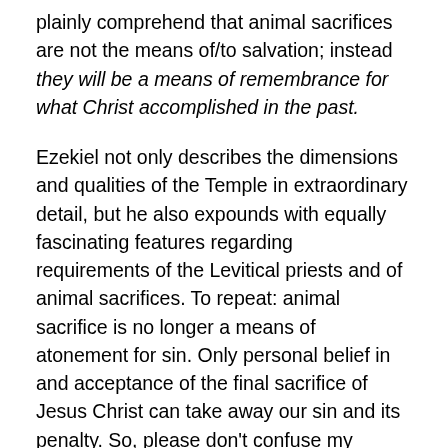plainly comprehend that animal sacrifices are not the means of/to salvation; instead they will be a means of remembrance for what Christ accomplished in the past.
Ezekiel not only describes the dimensions and qualities of the Temple in extraordinary detail, but he also expounds with equally fascinating features regarding requirements of the Levitical priests and of animal sacrifices. To repeat: animal sacrifice is no longer a means of atonement for sin. Only personal belief in and acceptance of the final sacrifice of Jesus Christ can take away our sin and its penalty. So, please don't confuse my premise that both the Temple and Temple activities (such as animal sacrifice) will continue throughout the Millennium (and beyond) with the idea that people will be redeemed by such sacrifices. That was not true under the Law of Moses, and certainly not true in the New Covenant Age of Grace, which began with